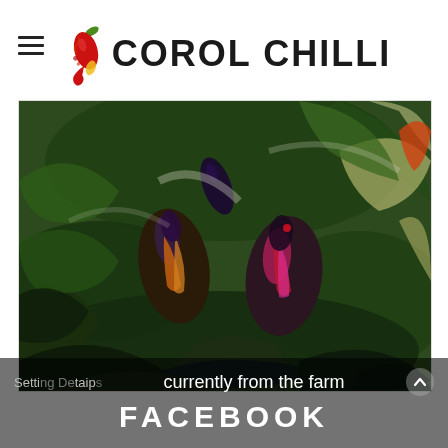COROL CHILLI
[Figure (photo): Close-up photograph of chili peppers on a plant. The peppers show various stages of ripeness with colors ranging from dark purple/black to orange and red/pink striped, surrounded by dark green leaves.]
currently from the farm
FACEBOOK